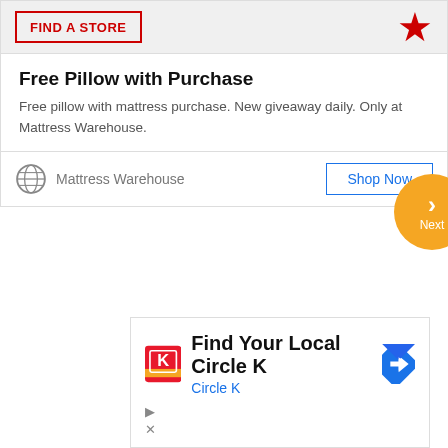[Figure (screenshot): Ad banner top area with FIND A STORE button and red star, gray background]
Free Pillow with Purchase
Free pillow with mattress purchase. New giveaway daily. Only at Mattress Warehouse.
Mattress Warehouse  Shop Now
[Figure (screenshot): Orange circular Next navigation button partially visible on right edge]
Find Your Local Circle K
Circle K